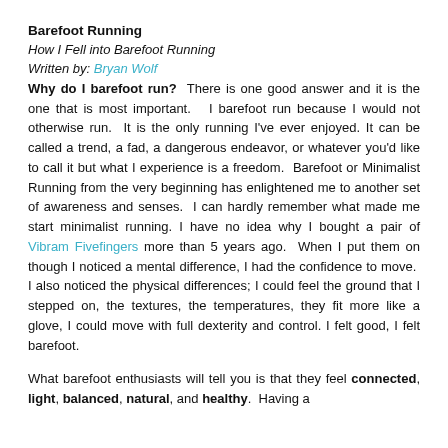Barefoot Running
How I Fell into Barefoot Running
Written by: Bryan Wolf
Why do I barefoot run?  There is one good answer and it is the one that is most important.   I barefoot run because I would not otherwise run.  It is the only running I've ever enjoyed. It can be called a trend, a fad, a dangerous endeavor, or whatever you'd like to call it but what I experience is a freedom.  Barefoot or Minimalist Running from the very beginning has enlightened me to another set of awareness and senses.  I can hardly remember what made me start minimalist running. I have no idea why I bought a pair of Vibram Fivefingers more than 5 years ago.  When I put them on though I noticed a mental difference, I had the confidence to move.  I also noticed the physical differences; I could feel the ground that I stepped on, the textures, the temperatures, they fit more like a glove, I could move with full dexterity and control. I felt good, I felt barefoot.
What barefoot enthusiasts will tell you is that they feel connected, light, balanced, natural, and healthy.  Having a